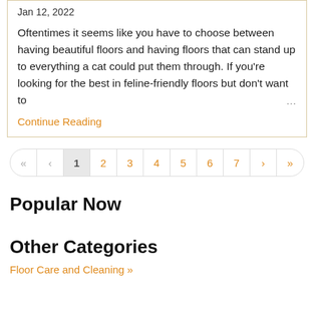Jan 12, 2022
Oftentimes it seems like you have to choose between having beautiful floors and having floors that can stand up to everything a cat could put them through. If you're looking for the best in feline-friendly floors but don't want to ...
Continue Reading
«  <  1  2  3  4  5  6  7  >  »
Popular Now
Other Categories
Floor Care and Cleaning »